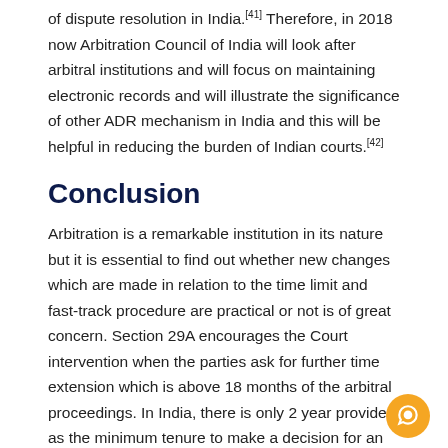of dispute resolution in India.[41] Therefore, in 2018 now Arbitration Council of India will look after arbitral institutions and will focus on maintaining electronic records and will illustrate the significance of other ADR mechanism in India and this will be helpful in reducing the burden of Indian courts.[42]
Conclusion
Arbitration is a remarkable institution in its nature but it is essential to find out whether new changes which are made in relation to the time limit and fast-track procedure are practical or not is of great concern. Section 29A encourages the Court intervention when the parties ask for further time extension which is above 18 months of the arbitral proceedings. In India, there is only 2 year provided as the minimum tenure to make a decision for an award. It is argued that this law is highly impractical as the time bar...